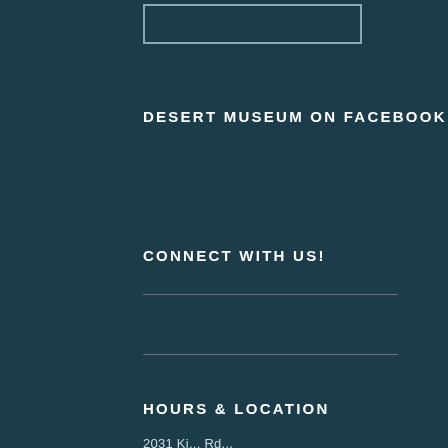[Figure (logo): Rectangular logo box outline at top]
DESERT MUSEUM ON FACEBOOK
CONNECT WITH US!
HOURS & LOCATION
2031 Ki... Rd...